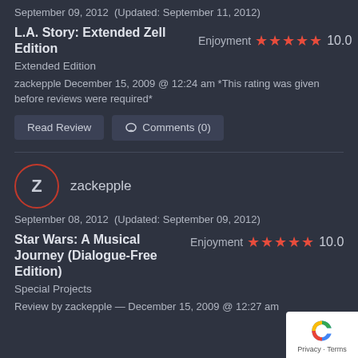September 09, 2012  (Updated: September 11, 2012)
L.A. Story: Extended Zell Edition  Enjoyment ★★★★★ 10.0
Extended Edition
zackepple December 15, 2009 @ 12:24 am *This rating was given before reviews were required*
Read Review   Comments (0)
[Figure (other): User avatar circle with letter Z, orange border]
zackepple
September 08, 2012  (Updated: September 09, 2012)
Star Wars: A Musical Journey (Dialogue-Free Edition)  Enjoyment ★★★★★ 10.0
Special Projects
Review by zackepple — December 15, 2009 @ 12:27 am